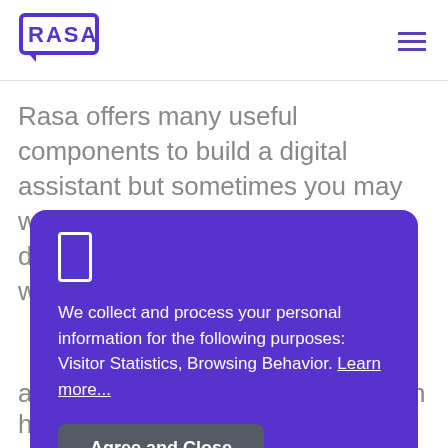RASA
Rasa offers many useful components to build a digital assistant but sometimes you may want to write your own. This document will be part of a series where
[Figure (screenshot): Purple cookie consent modal overlay with a checkbox icon, privacy notice text, a 'Learn more...' link, and an 'Agree and Close' button]
also serve as a nice introduction on how